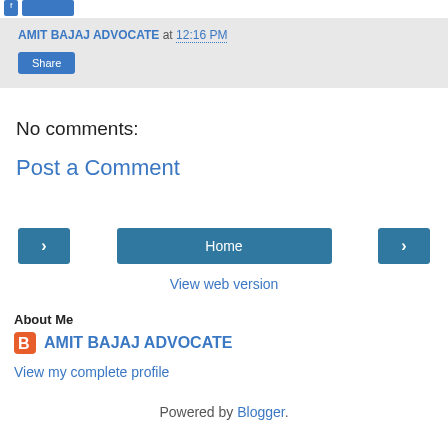[buttons] AMIT BAJAJ ADVOCATE at 12:16 PM Share
No comments:
Post a Comment
< Home >
View web version
About Me
AMIT BAJAJ ADVOCATE
View my complete profile
Powered by Blogger.